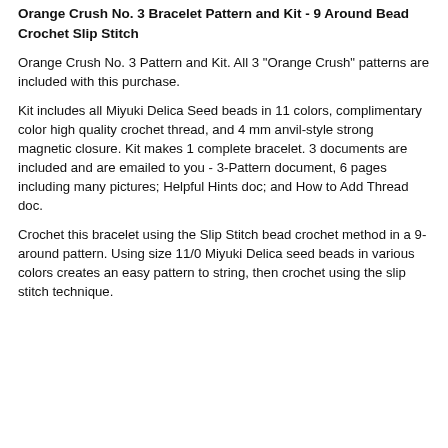Orange Crush No. 3 Bracelet Pattern and Kit - 9 Around Bead Crochet Slip Stitch
Orange Crush No. 3 Pattern and Kit. All 3 "Orange Crush" patterns are included with this purchase.
Kit includes all Miyuki Delica Seed beads in 11 colors, complimentary color high quality crochet thread, and 4 mm anvil-style strong magnetic closure. Kit makes 1 complete bracelet. 3 documents are included and are emailed to you - 3-Pattern document, 6 pages including many pictures; Helpful Hints doc; and How to Add Thread doc.
Crochet this bracelet using the Slip Stitch bead crochet method in a 9-around pattern. Using size 11/0 Miyuki Delica seed beads in various colors creates an easy pattern to string, then crochet using the slip stitch technique.